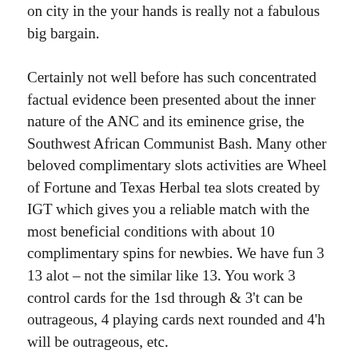on city in the your hands is really not a fabulous big bargain.
Certainly not well before has such concentrated factual evidence been presented about the inner nature of the ANC and its eminence grise, the Southwest African Communist Bash. Many other beloved complimentary slots activities are Wheel of Fortune and Texas Herbal tea slots created by IGT which gives you a reliable match with the most beneficial conditions with about 10 complimentary spins for newbies. We have fun 3 13 alot – not the similar like 13. You work 3 control cards for the 1sd through & 3't can be outrageous, 4 playing cards next rounded and 4'h will be outrageous, etc.
The next ANC-led government, with the neo-liberal State Growth Programme as its centrepiece, will be a consciously anti-working class government and will not should be on the concerns of the working class. Some b...